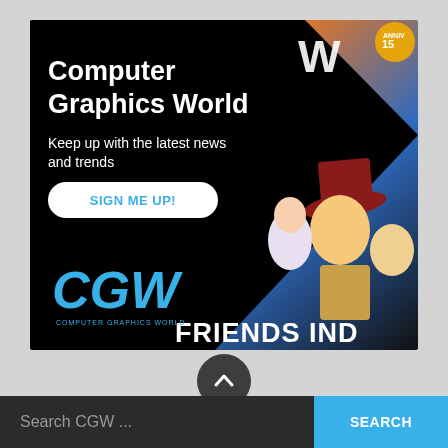[Figure (illustration): Computer Graphics World advertisement banner. Black left panel with white bold title 'Computer Graphics World', subtitle 'Keep up with the latest news and trends', a 'SIGN ME UP!' button, and CGW logo. Right panel shows Toy Story characters (Bo Peep, Woody, Buzz Lightyear) against colorful background with text 'FRIENDS INDE' at bottom. CGW W logo and anniversary badge visible top right.]
[Figure (other): Dark gray circular scroll-up button with upward chevron arrow]
Search CGW ...
SEARCH